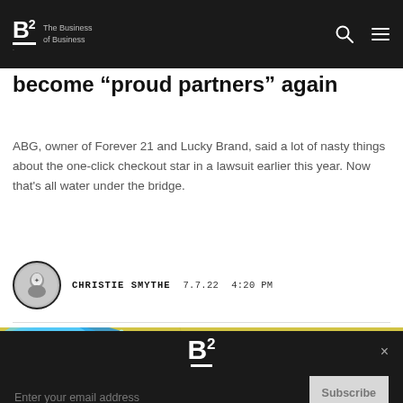B2 The Business of Business
client ABG bury the hatchet and become “proud partners” again
ABG, owner of Forever 21 and Lucky Brand, said a lot of nasty things about the one-click checkout star in a lawsuit earlier this year. Now that’s all water under the bridge.
CHRISTIE SMYTHE   7.7.22  4:20 PM
[Figure (illustration): Crypto banner image with blue water splash on left and yellow crumpled paper background with red rocket/flame on right, with CRYPTO label overlay]
Enter your email address
Subscribe